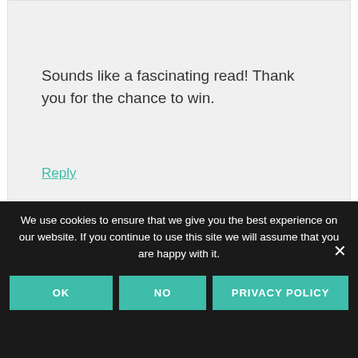Sounds like a fascinating read! Thank you for the chance to win.
Reply
We use cookies to ensure that we give you the best experience on our website. If you continue to use this site we will assume that you are happy with it.
OK
NO
PRIVACY POLICY